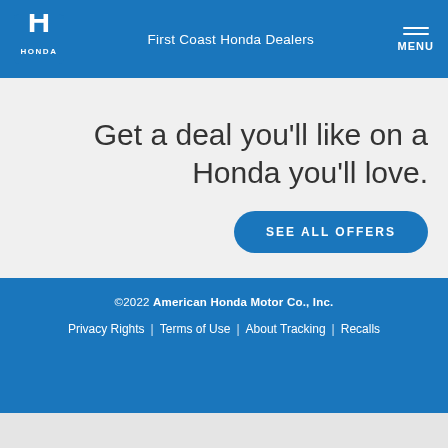First Coast Honda Dealers
Get a deal you'll like on a Honda you'll love.
SEE ALL OFFERS
©2022 American Honda Motor Co., Inc. | Privacy Rights | Terms of Use | About Tracking | Recalls